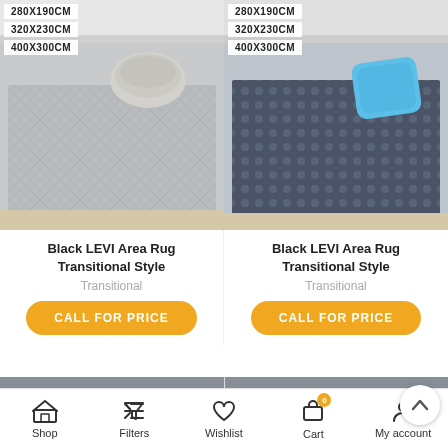280X190CM
320X230CM
400X300CM
[Figure (photo): Gray woven area rug with bundled cushion on top, displayed on wooden floor]
Black LEVI Area Rug Transitional Style
Transitional
CALL FOR PRICE
280X190CM
320X230CM
400X300CM
[Figure (photo): Dark blue patterned area rug with blue pillow, displayed on wooden floor]
Black LEVI Area Rug Transitional Style
Transitional
CALL FOR PRICE
[Figure (photo): Product thumbnail with Pinterest Save badge, showing decorative items on shelf]
[Figure (photo): Product thumbnail with Pinterest Save badge, showing decorative items on white shelf]
Shop  Filters  Wishlist  Cart  My account